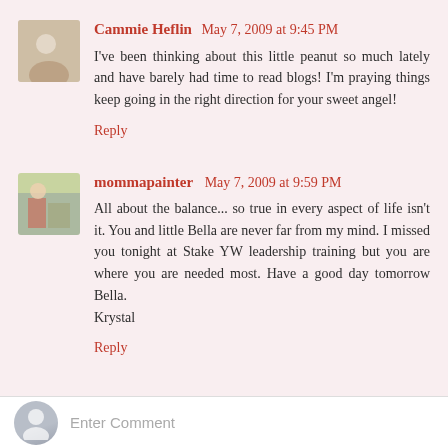Cammie Heflin May 7, 2009 at 9:45 PM
I've been thinking about this little peanut so much lately and have barely had time to read blogs! I'm praying things keep going in the right direction for your sweet angel!
Reply
mommapainter May 7, 2009 at 9:59 PM
All about the balance... so true in every aspect of life isn't it. You and little Bella are never far from my mind. I missed you tonight at Stake YW leadership training but you are where you are needed most. Have a good day tomorrow Bella.
Krystal
Reply
Enter Comment